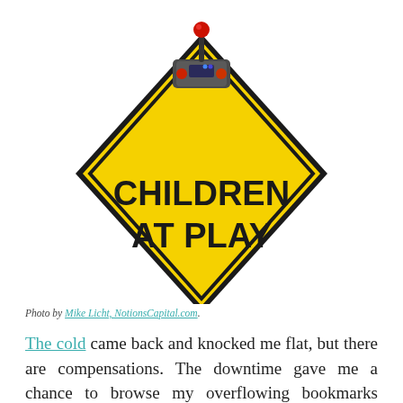[Figure (illustration): A yellow diamond-shaped caution road sign reading 'CHILDREN AT PLAY' in bold black text, with a game joystick controller graphic on top of the sign. White background.]
Photo by Mike Licht, NotionsCapital.com.
The cold came back and knocked me flat, but there are compensations. The downtime gave me a chance to browse my overflowing bookmarks folder, and I found something to add to my resource page. Princess Kitten and I enjoyed exploring these games and quizzes from